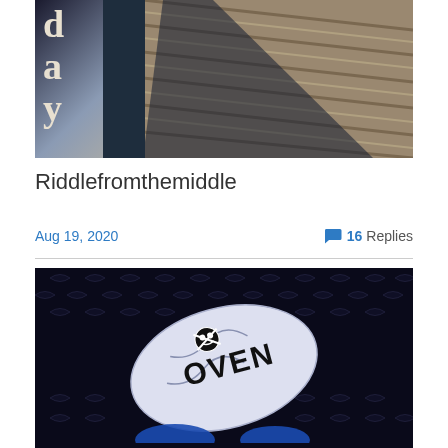[Figure (photo): Top portion of a blog header image showing wooden dock planks and water, with letters 'd', 'a', 'y' visible in white serif font on the left side against a dark background.]
Riddlefromthemiddle
Aug 19, 2020    💬 16 Replies
[Figure (photo): Dark image with a diamond plate metal background pattern showing a white fabric/bag with a skull and crossbones symbol and text reading 'OVEN', held by blue-gloved hands at the bottom.]